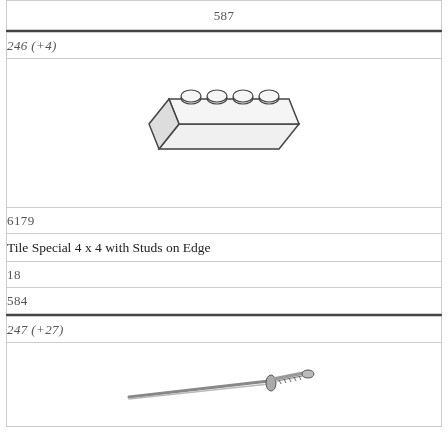587
246 (+4)
[Figure (illustration): LEGO 4x4 tile piece with studs on one edge, shown in isometric line-drawing style]
6179
Tile Special 4 x 4 with Studs on Edge
18
584
247 (+27)
[Figure (illustration): LEGO katana/sword piece shown in line-drawing style, with wrapped handle and guard]